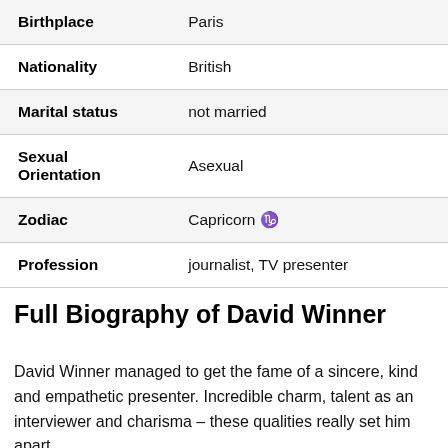| Field | Value |
| --- | --- |
| Birthplace | Paris |
| Nationality | British |
| Marital status | not married |
| Sexual Orientation | Asexual |
| Zodiac | Capricorn ♑ |
| Profession | journalist, TV presenter |
Full Biography of David Winner
David Winner managed to get the fame of a sincere, kind and empathetic presenter. Incredible charm, talent as an interviewer and charisma – these qualities really set him apart.